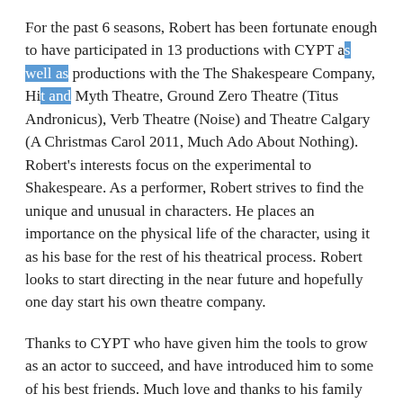For the past 6 seasons, Robert has been fortunate enough to have participated in 13 productions with CYPT as well as productions with the The Shakespeare Company, Hit and Myth Theatre, Ground Zero Theatre (Titus Andronicus), Verb Theatre (Noise) and Theatre Calgary (A Christmas Carol 2011, Much Ado About Nothing). Robert's interests focus on the experimental to Shakespeare. As a performer, Robert strives to find the unique and unusual in characters. He places an importance on the physical life of the character, using it as his base for the rest of his theatrical process. Robert looks to start directing in the near future and hopefully one day start his own theatre company.
Thanks to CYPT who have given him the tools to grow as an actor to succeed, and have introduced him to some of his best friends. Much love and thanks to his family for constantly supporting him and putting up with his teenage angst. He would especially like to thank Jamie Dunsdon for being true friend and mentor and trusting him to play the